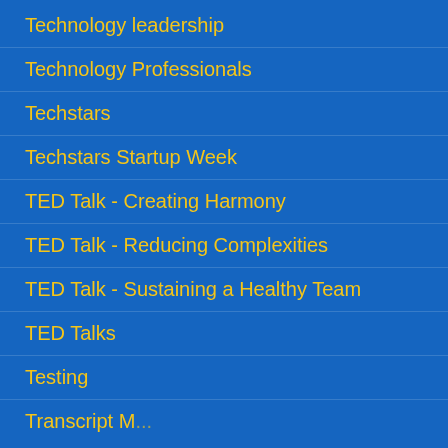Technology leadership
Technology Professionals
Techstars
Techstars Startup Week
TED Talk - Creating Harmony
TED Talk - Reducing Complexities
TED Talk - Sustaining a Healthy Team
TED Talks
Testing
Transcript Management